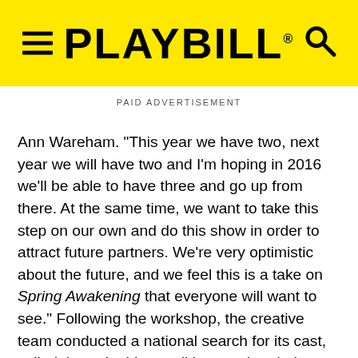PLAYBILL
PAID ADVERTISEMENT
Ann Wareham. "This year we have two, next year we will have two and I'm hoping in 2016 we'll be able to have three and go up from there. At the same time, we want to take this step on our own and do this show in order to attract future partners. We're very optimistic about the future, and we feel this is a take on Spring Awakening that everyone will want to see." Following the workshop, the creative team conducted a national search for its cast, culled through video auditions and ended up pulling from as far away as Washington, D.C., Kentucky, Louisiana and Indiana. The actors are mostly between the ages of 17 and 24, and many of them moved to Los Angeles for the opportunity.